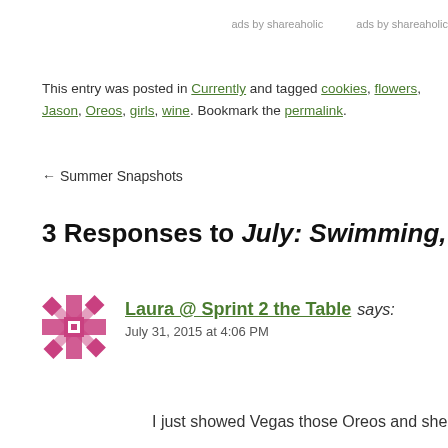ads by shareaholic   ads by shareaholic
This entry was posted in Currently and tagged cookies, flowers, Jason, Oreos, girls, wine. Bookmark the permalink.
← Summer Snapshots
3 Responses to July: Swimming, Sweets, a
Laura @ Sprint 2 the Table says:
July 31, 2015 at 4:06 PM
I just showed Vegas those Oreos and she looked at me a
I love how happy you are. Mwah!
Reply